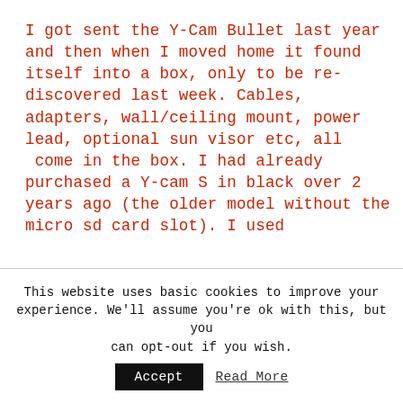I got sent the Y-Cam Bullet last year and then when I moved home it found itself into a box, only to be re-discovered last week. Cables, adapters, wall/ceiling mount, power lead, optional sun visor etc, all  come in the box. I had already purchased a Y-cam S in black over 2 years ago (the older model without the micro sd card slot). I used
This website uses basic cookies to improve your experience. We'll assume you're ok with this, but you can opt-out if you wish.